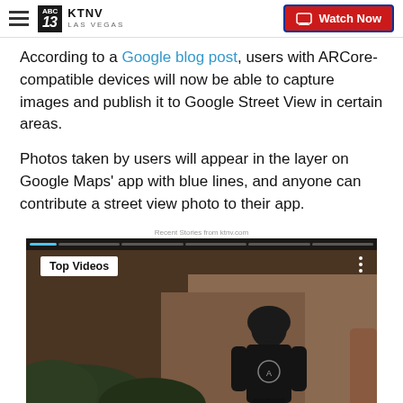KTNV LAS VEGAS | Watch Now
According to a Google blog post, users with ARCore-compatible devices will now be able to capture images and publish it to Google Street View in certain areas.
Photos taken by users will appear in the layer on Google Maps' app with blue lines, and anyone can contribute a street view photo to their app.
Recent Stories from ktnv.com
[Figure (screenshot): Video thumbnail showing 'Top Videos' badge in upper left, a dark outdoor scene with a person in black clothing standing near rocks and foliage, three-dot menu icon in upper right, navigation timeline bar at top of video player.]